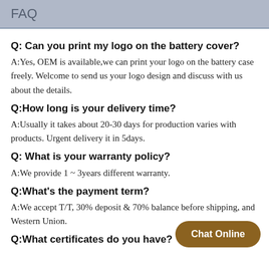FAQ
Q: Can you print my logo on the battery cover?
A:Yes, OEM is available,we can print your logo on the battery case freely. Welcome to send us your logo design and discuss with us about the details.
Q:How long is your delivery time?
A:Usually it takes about 20-30 days for production varies with products. Urgent delivery it in 5days.
Q: What is your warranty policy?
A:We provide 1 ~ 3years different warranty.
Q:What's the payment term?
A:We accept T/T, 30% deposit & 70% balance before shipping, and Western Union.
Q:What certificates do you have?